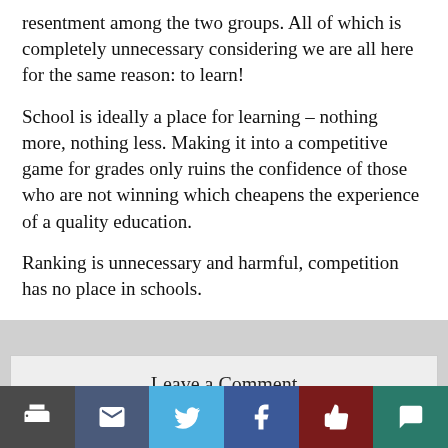resentment among the two groups. All of which is completely unnecessary considering we are all here for the same reason: to learn!
School is ideally a place for learning – nothing more, nothing less. Making it into a competitive game for grades only ruins the confidence of those who are not winning which cheapens the experience of a quality education.
Ranking is unnecessary and harmful, competition has no place in schools.
Leave a Comment